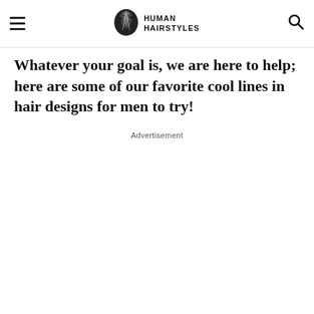Human Hairstyles
Whatever your goal is, we are here to help; here are some of our favorite cool lines in hair designs for men to try!
Advertisement